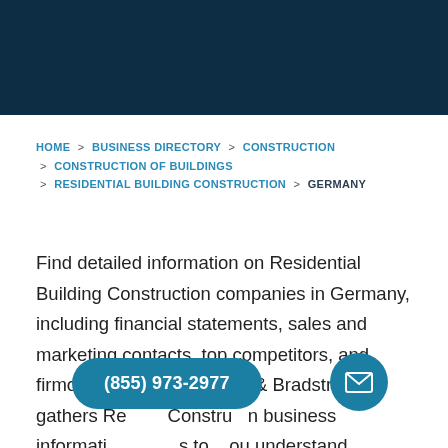[Figure (other): Dark navy header banner at top of page]
HOME > BUSINESS DIRECTORY > CONSTRUCTION > CONSTRUCTION OF BUILDINGS > RESIDENTIAL BUILDING CONSTRUCTION > GERMANY
Find detailed information on Residential Building Construction companies in Germany, including financial statements, sales and marketing contacts, top competitors, and firmographic insights. Dun & Bradstreet gathers Residential Building Construction business information from trusted sources to help you understand company performance, growth potential, and competitive advantage. View 70,070 Residential Building Construction